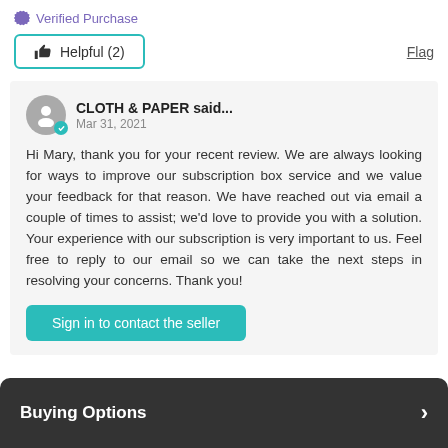Verified Purchase
Helpful (2)
Flag
CLOTH & PAPER said...
Mar 31, 2021
Hi Mary, thank you for your recent review. We are always looking for ways to improve our subscription box service and we value your feedback for that reason. We have reached out via email a couple of times to assist; we'd love to provide you with a solution. Your experience with our subscription is very important to us. Feel free to reply to our email so we can take the next steps in resolving your concerns. Thank you!
Sign in to contact the seller
Buying Options